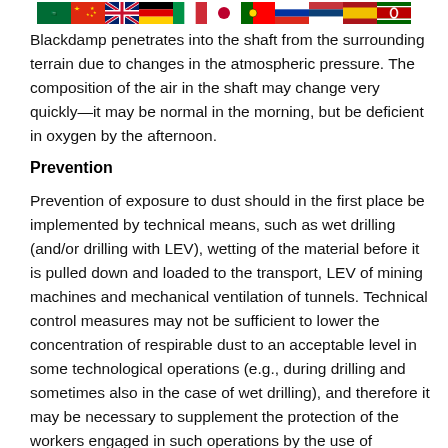[Figure (other): Row of national flags: Saudi Arabia, China, UK, Germany, Italy, Japan, Portugal, Russia, Serbia, Spain, Kenya]
Blackdamp penetrates into the shaft from the surrounding terrain due to changes in the atmospheric pressure. The composition of the air in the shaft may change very quickly—it may be normal in the morning, but be deficient in oxygen by the afternoon.
Prevention
Prevention of exposure to dust should in the first place be implemented by technical means, such as wet drilling (and/or drilling with LEV), wetting of the material before it is pulled down and loaded to the transport, LEV of mining machines and mechanical ventilation of tunnels. Technical control measures may not be sufficient to lower the concentration of respirable dust to an acceptable level in some technological operations (e.g., during drilling and sometimes also in the case of wet drilling), and therefore it may be necessary to supplement the protection of the workers engaged in such operations by the use of respirators.